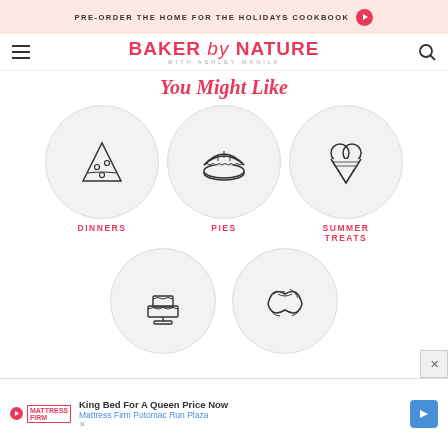PRE-ORDER THE HOME FOR THE HOLIDAYS COOKBOOK
[Figure (logo): Baker by Nature with Ashley Manila logo]
You Might Like
[Figure (infographic): Category icons: Dinners (pizza slice), Pies (pie), Summer Treats (ice cream), Cake, Croissant]
DINNERS | PIES | SUMMER TREATS
King Bed For A Queen Price Now - Mattress Firm Potomac Run Plaza